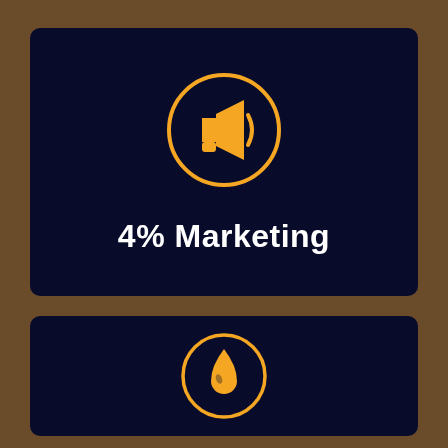[Figure (infographic): Dark navy card with orange megaphone icon in an orange circle, and text '4% Marketing' in white bold font below]
[Figure (infographic): Dark navy card with orange water drop icon in an orange circle]